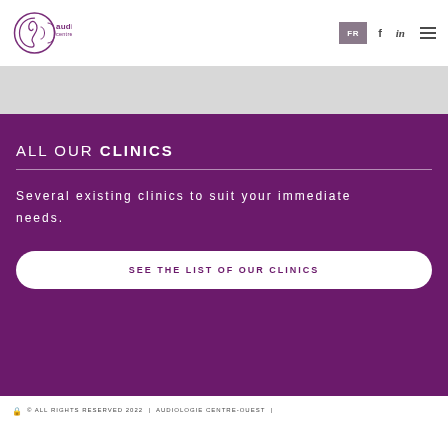Audiology Centre West — FR | f | in | menu
[Figure (logo): Audiology Centre West logo with circular ear graphic and text]
ALL OUR CLINICS
Several existing clinics to suit your immediate needs.
SEE THE LIST OF OUR CLINICS
© ALL RIGHTS RESERVED 2022 | AUDIOLOGIE CENTRE-OUEST |